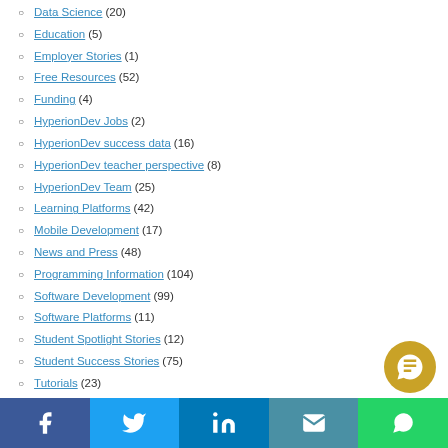Data Science (20)
Education (5)
Employer Stories (1)
Free Resources (52)
Funding (4)
HyperionDev Jobs (2)
HyperionDev success data (16)
HyperionDev teacher perspective (8)
HyperionDev Team (25)
Learning Platforms (42)
Mobile Development (17)
News and Press (48)
Programming Information (104)
Software Development (99)
Software Platforms (11)
Student Spotlight Stories (12)
Student Success Stories (75)
Tutorials (23)
Web Development (50)
Women in code (6)